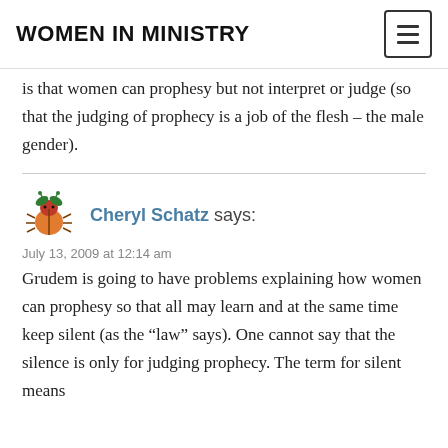WOMEN IN MINISTRY
is that women can prophesy but not interpret or judge (so that the judging of prophecy is a job of the flesh – the male gender).
Cheryl Schatz says:
July 13, 2009 at 12:14 am
Grudem is going to have problems explaining how women can prophesy so that all may learn and at the same time keep silent (as the “law” says). One cannot say that the silence is only for judging prophecy. The term for silent means